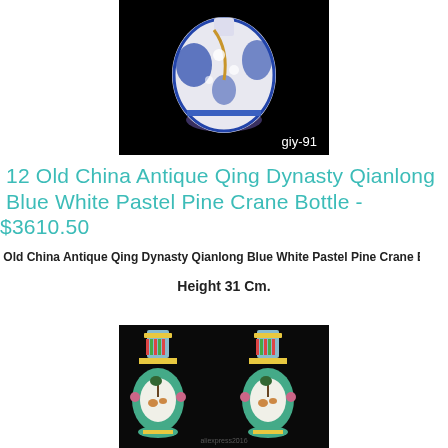[Figure (photo): A blue and white Chinese porcelain bottle vase with decorative floral and bird motifs, shown against a black background with label 'giy-91']
12 Old China Antique Qing Dynasty Qianlong Blue White Pastel Pine Crane Bottle - $3610.50
Old China Antique Qing Dynasty Qianlong Blue White Pastel Pine Crane Bot
Height 31 Cm.
[Figure (photo): Two matching Chinese famille rose porcelain moon flask vases with green ground and deer/crane motifs, shown against a black background]